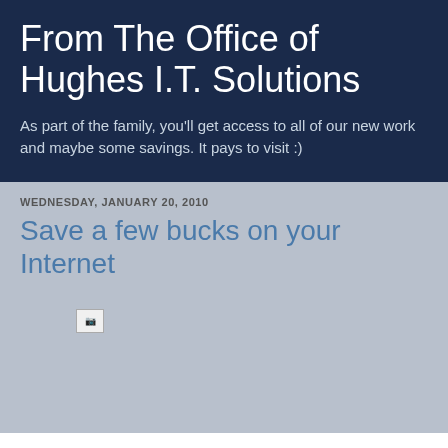From The Office of Hughes I.T. Solutions
As part of the family, you'll get access to all of our new work and maybe some savings. It pays to visit :)
WEDNESDAY, JANUARY 20, 2010
Save a few bucks on your Internet
[Figure (photo): Broken image placeholder icon]